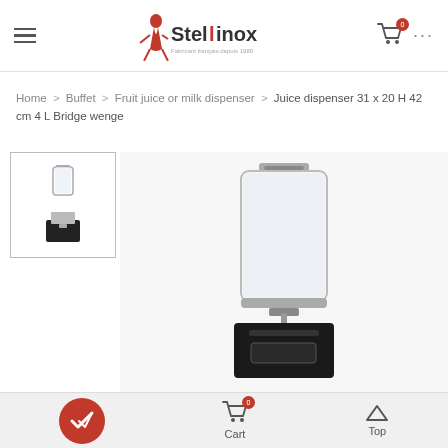Stellinox — Fabricant français depuis 1980
Home > Buffet > Fruit juice or milk dispenser > Juice dispenser 31 x 20 H 42 cm 4 L Bridge wenge
[Figure (photo): Thumbnail of juice dispenser product with clear cylindrical container on black wenge base]
[Figure (photo): Main product image of juice dispenser 31 x 20 H 42 cm 4 L Bridge wenge — clear acrylic cylindrical container with chrome lid and tap, mounted on a dark wenge wood base]
Cart  Top